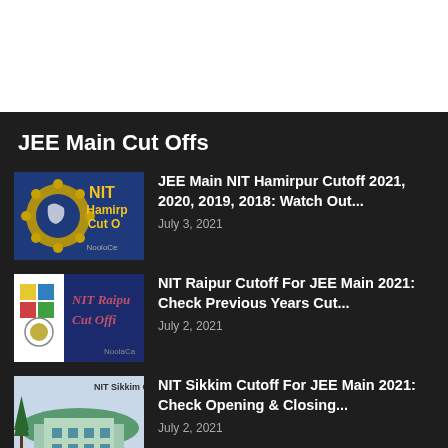[Figure (screenshot): White top section of webpage]
JEE Main Cut Offs
[Figure (photo): NIT Hamirpur Cut Off thumbnail with gear logo and yellow text on blue background]
JEE Main NIT Hamirpur Cutoff 2021, 2020, 2019, 2018: Watch Out...
July 3, 2021
[Figure (photo): NIT Raipur Cut Off thumbnail with college logo and cursive text on dark blue background]
NIT Raipur Cutoff For JEE Main 2021: Check Previous Years Cut...
July 2, 2021
[Figure (photo): NIT Sikkim Cut Off thumbnail with mountain and building scenery]
NIT Sikkim Cutoff For JEE Main 2021: Check Opening & Closing...
July 2, 2021